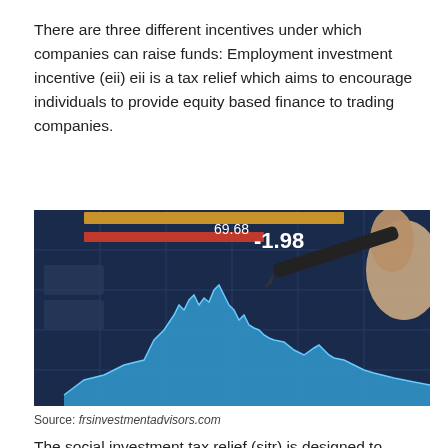There are three different incentives under which companies can raise funds: Employment investment incentive (eii) eii is a tax relief which aims to encourage individuals to provide equity based finance to trading companies.
[Figure (photo): A hand holding a pen pointing at a financial trading screen showing a blue area chart with price data and a value of -1.98 displayed.]
Source: frsinvestmentadvisors.com
The social investment tax relief (sitr) is designed to support